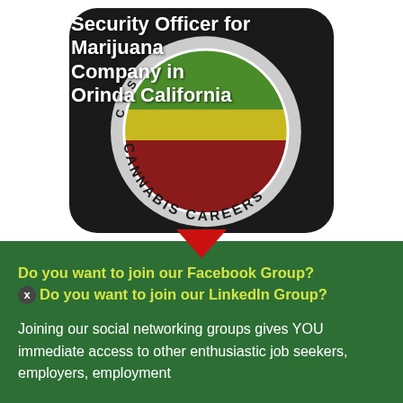[Figure (logo): Cannabis Careers circular badge/logo with green, yellow, and red sections (Rasta colors), white ring with 'CANNABIS CAREERS' text around it. Overlaid text reads 'Security Officer for Marijuana Company in Orinda California'.]
Security Officer for Marijuana Company in Orinda California
Do you want to join our Facebook Group? Do you want to join our LinkedIn Group?
Joining our social networking groups gives YOU immediate access to other enthusiastic job seekers, employers, employment